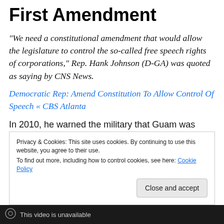First Amendment
“We need a constitutional amendment that would allow the legislature to control the so-called free speech rights of corporations,” Rep. Hank Johnson (D-GA) was quoted as saying by CNS News.
Democratic Rep: Amend Constitution To Allow Control Of Speech « CBS Atlanta
In 2010, he warned the military that Guam was going to capsize from the weight of soldiers.
Privacy & Cookies: This site uses cookies. By continuing to use this website, you agree to their use.
To find out more, including how to control cookies, see here: Cookie Policy
Close and accept
This video is unavailable